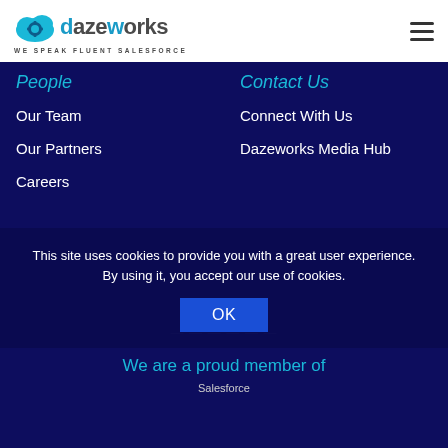[Figure (logo): Dazeworks logo with cloud and gear icon, tagline WE SPEAK FLUENT SALESFORCE]
People
Contact Us
Our Team
Connect With Us
Our Partners
Dazeworks Media Hub
Careers
This site uses cookies to provide you with a great user experience. By using it, you accept our use of cookies.
OK
We are a proud member of
[Figure (logo): Salesforce logo image (partially visible)]